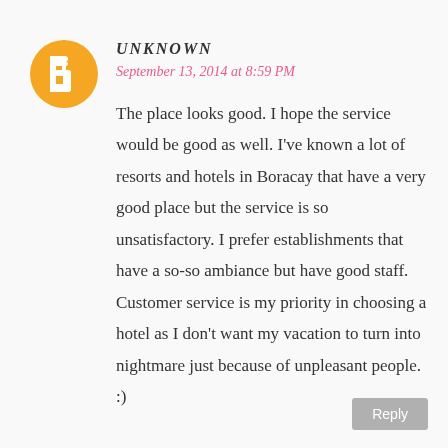[Figure (logo): Orange Blogger avatar circle with white 'B' icon]
UNKNOWN
September 13, 2014 at 8:59 PM
The place looks good. I hope the service would be good as well. I've known a lot of resorts and hotels in Boracay that have a very good place but the service is so unsatisfactory. I prefer establishments that have a so-so ambiance but have good staff. Customer service is my priority in choosing a hotel as I don't want my vacation to turn into nightmare just because of unpleasant people. :)